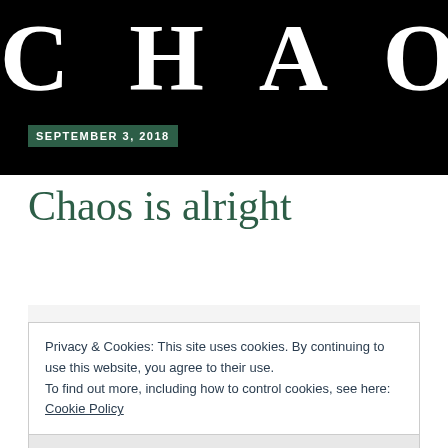[Figure (photo): Black hero image banner with large white text 'CHAOS' in bold serif letters and a dark green date badge reading 'SEPTEMBER 3, 2018']
Chaos is alright
Subscribe:
Enter your email address to follow this blog and receive notifications of new posts by email.
Email Address
Privacy & Cookies: This site uses cookies. By continuing to use this website, you agree to their use.
To find out more, including how to control cookies, see here:
Cookie Policy
Close and accept